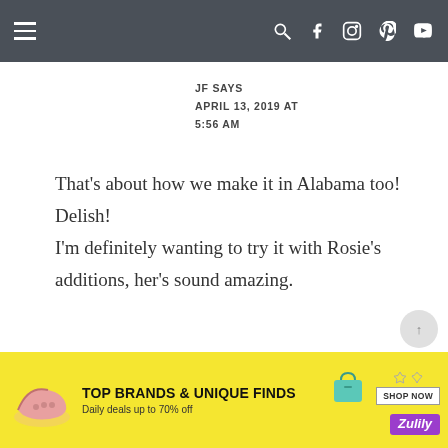Navigation bar with menu icon and social icons (search, facebook, instagram, pinterest, youtube)
JF SAYS
APRIL 13, 2019 AT 5:56 AM
That's about how we make it in Alabama too! Delish!
I'm definitely wanting to try it with Rosie's additions, her's sound amazing.
[Figure (other): Advertisement banner: TOP BRANDS & UNIQUE FINDS, Daily deals up to 70% off, SHOP NOW button, Zulily logo, shoes and bag images]